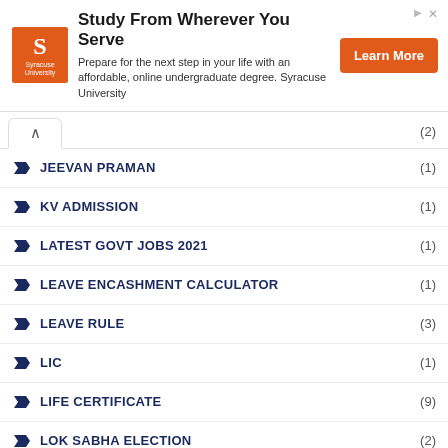[Figure (infographic): Syracuse University advertisement banner: orange logo with S, headline 'Study From Wherever You Serve', body text about affordable online undergraduate degree, Learn More orange button]
(2)
JEEVAN PRAMAN (1)
KV ADMISSION (1)
LATEST GOVT JOBS 2021 (1)
LEAVE ENCASHMENT CALCULATOR (1)
LEAVE RULE (3)
LIC (1)
LIFE CERTIFICATE (9)
LOK SABHA ELECTION (2)
LTC (2)